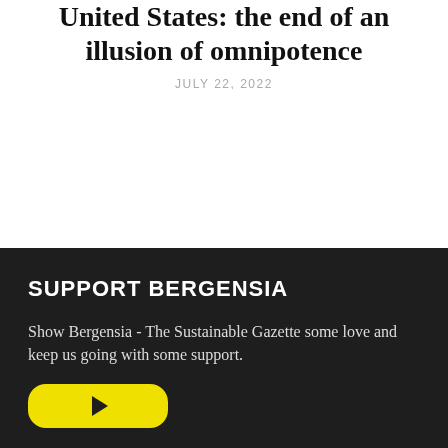United States: the end of an illusion of omnipotence
JULY 22, 2022
SUPPORT BERGENSIA
Show Bergensia - The Sustainable Gazette some love and keep us going with some support.